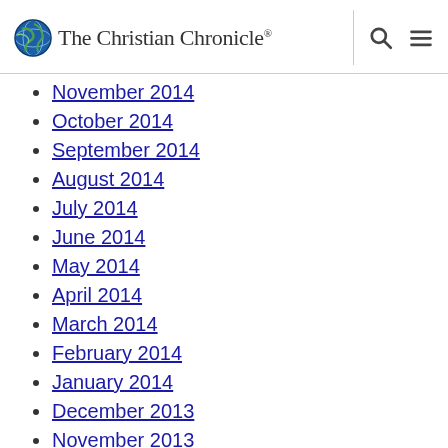The Christian Chronicle
November 2014
October 2014
September 2014
August 2014
July 2014
June 2014
May 2014
April 2014
March 2014
February 2014
January 2014
December 2013
November 2013
October 2013
September 2013